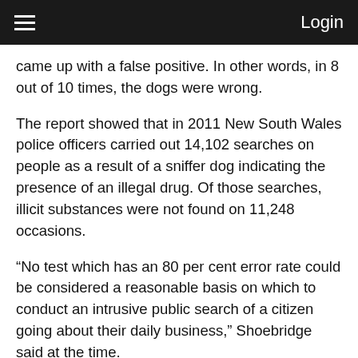≡  Login
came up with a false positive. In other words, in 8 out of 10 times, the dogs were wrong.
The report showed that in 2011 New South Wales police officers carried out 14,102 searches on people as a result of a sniffer dog indicating the presence of an illegal drug. Of those searches, illicit substances were not found on 11,248 occasions.
“No test which has an 80 per cent error rate could be considered a reasonable basis on which to conduct an intrusive public search of a citizen going about their daily business,” Shoebridge said at the time.
Of course the parliamentary secretary for police disagreed. Whilst acknowledging that “there is an element of error” he stressed that the use of the dogs “also creates an element of fear in people with drugs.”